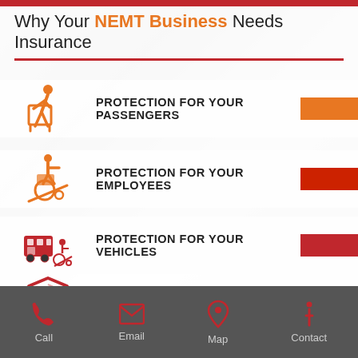Why Your NEMT Business Needs Insurance
PROTECTION FOR YOUR PASSENGERS
PROTECTION FOR YOUR EMPLOYEES
PROTECTION FOR YOUR VEHICLES
PROTECTION FOR YOUR BUSINESS
Call  Email  Map  Contact